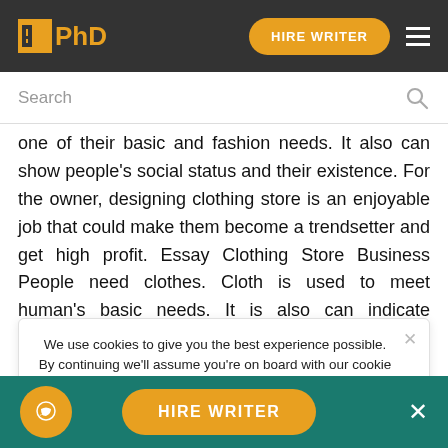IPhD | HIRE WRITER
Search
one of their basic and fashion needs. It also can show people’s social status and their existence. For the owner, designing clothing store is an enjoyable job that could make them become a trendsetter and get high profit. Essay Clothing Store Business People need clothes. Cloth is used to meet human’s basic needs. It is also can indicate people’s personality, because every people is free to decide what they want to be like.
We use cookies to give you the best experience possible. By continuing we’ll assume you’re on board with our cookie policy
Order custom essay Clothing Store Businnes with free plagiarism report
HIRE WRITER